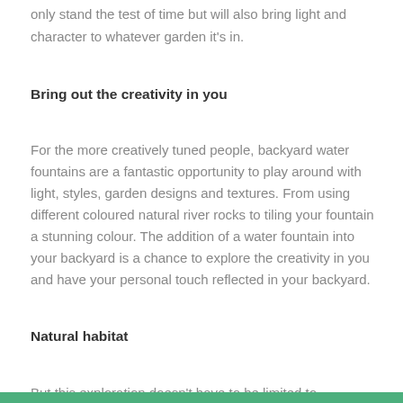only stand the test of time but will also bring light and character to whatever garden it's in.
Bring out the creativity in you
For the more creatively tuned people, backyard water fountains are a fantastic opportunity to play around with light, styles, garden designs and textures. From using different coloured natural river rocks to tiling your fountain a stunning colour. The addition of a water fountain into your backyard is a chance to explore the creativity in you and have your personal touch reflected in your backyard.
Natural habitat
But this exploration doesn't have to be limited to creativity, it's also an opportunity to create a haven to retreat to, where you feel connected to nature.